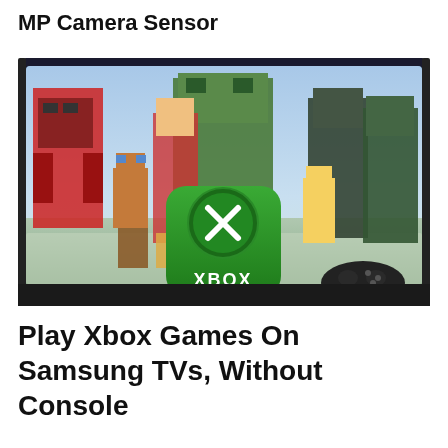MP Camera Sensor
[Figure (screenshot): A Samsung TV displaying Xbox game characters including figures from Minecraft, Halo, Doom, Fallout and other Xbox franchises, with the Xbox logo app icon overlaid in the center foreground. An Xbox controller sits in front of the TV.]
Play Xbox Games On Samsung TVs, Without Console